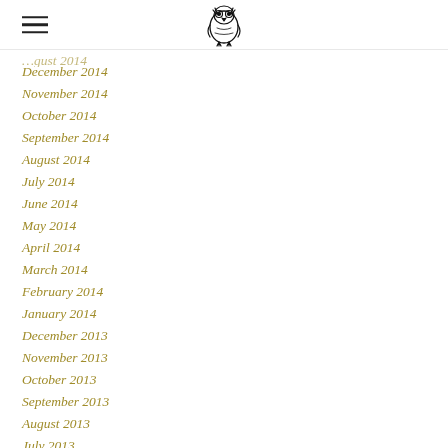[hamburger menu icon] [logo]
December 2014
November 2014
October 2014
September 2014
August 2014
July 2014
June 2014
May 2014
April 2014
March 2014
February 2014
January 2014
December 2013
November 2013
October 2013
September 2013
August 2013
July 2013